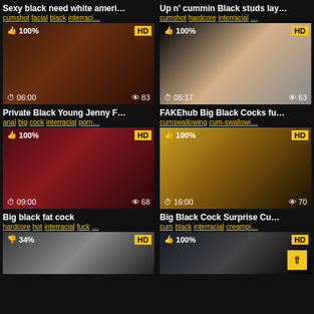Sexy black need white ameri...
cumshot facial black interraci...
Up n' cummin Black studs lay...
cumshot hardcore interracial ...
[Figure (photo): Video thumbnail, 100% rating, HD badge, duration 06:00, 83 views]
[Figure (photo): Video thumbnail, 100% rating, HD badge, duration 05:17, 63 views]
Private Black Young Jenny F...
anal big cock interracial porn...
FAKEhub Big Black Cocks fu...
cumswallowing cum-swallowi...
[Figure (photo): Video thumbnail, 100% rating, HD badge, duration 09:00, 68 views]
[Figure (photo): Video thumbnail, 100% rating, HD badge, duration 16:00, 70 views]
Big black fat cock
hardcore hot interracial fuck ...
Big Black Cock Surprise Cu...
cum black interracial creampi...
[Figure (photo): Video thumbnail, 34% rating, HD badge, partial view]
[Figure (photo): Video thumbnail, 100% rating, HD badge, scroll button, partial view]